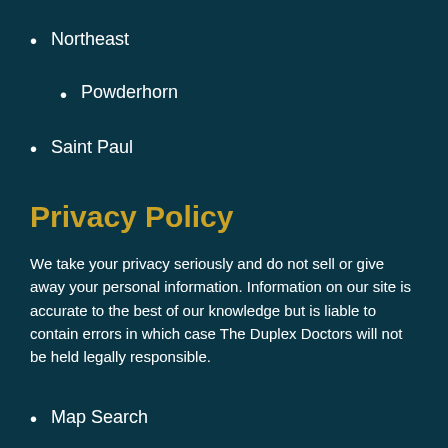Northeast
Powderhorn
Saint Paul
Privacy Policy
We take your privacy seriously and do not sell or give away your personal information. Information on our site is accurate to the best of our knowledge but is liable to contain errors in which case The Duplex Doctors will not be held legally responsible.
Map Search
Our Featured Listings
612-332-9000